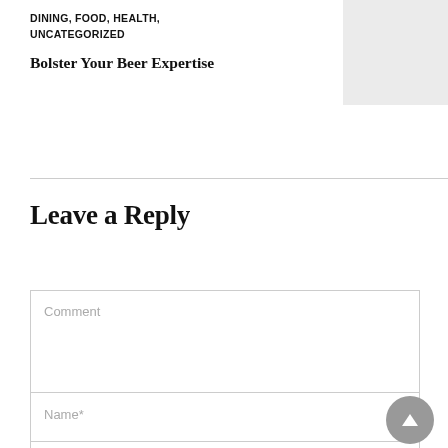DINING, FOOD, HEALTH, UNCATEGORIZED
Bolster Your Beer Expertise
[Figure (photo): Gray placeholder thumbnail image]
Leave a Reply
Comment (placeholder text in comment textarea)
Name* (placeholder text in name input field)